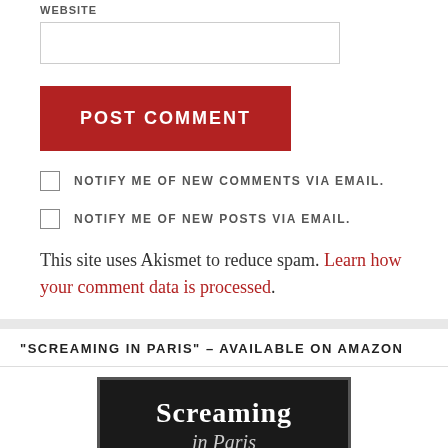WEBSITE
POST COMMENT
NOTIFY ME OF NEW COMMENTS VIA EMAIL.
NOTIFY ME OF NEW POSTS VIA EMAIL.
This site uses Akismet to reduce spam. Learn how your comment data is processed.
“SCREAMING IN PARIS” – AVAILABLE ON AMAZON
[Figure (photo): Book cover showing 'Screaming in Paris' title text on a dark background]